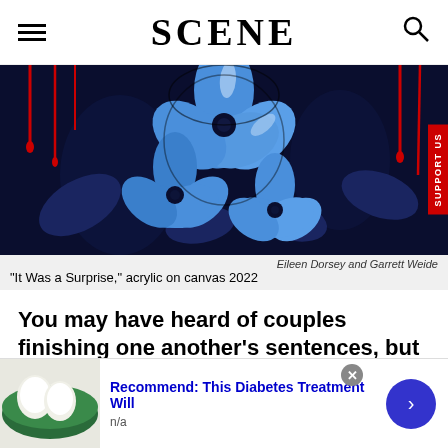SCENE
[Figure (photo): Painting of blue hibiscus flowers on dark navy background with red dripping lines, acrylic on canvas artwork by Eileen Dorsey and Garrett Weide]
Eileen Dorsey and Garrett Weide
"It Was a Surprise," acrylic on canvas 2022
You may have heard of couples finishing one another's sentences, but what about finishing one another's art works?
[Figure (photo): Advertisement showing white eggs, with text: Recommend: This Diabetes Treatment Will, n/a]